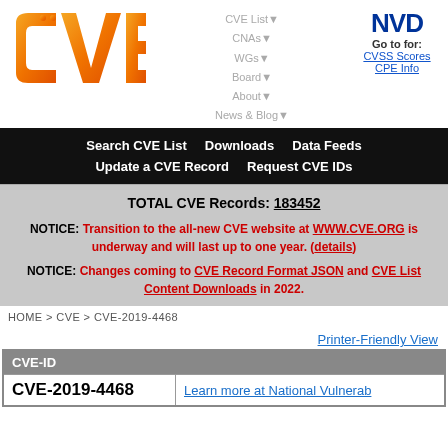[Figure (logo): CVE logo - orange gradient stylized letters]
CVE List▼  CNAs▼  WGs▼  Board▼  About▼  News & Blog▼
[Figure (logo): NVD logo - dark blue bold letters. Go to for: CVSS Scores, CPE Info]
Search CVE List   Downloads   Data Feeds   Update a CVE Record   Request CVE IDs
TOTAL CVE Records: 183452
NOTICE: Transition to the all-new CVE website at WWW.CVE.ORG is underway and will last up to one year. (details)
NOTICE: Changes coming to CVE Record Format JSON and CVE List Content Downloads in 2022.
HOME > CVE > CVE-2019-4468
Printer-Friendly View
| CVE-ID |  |
| --- | --- |
| CVE-2019-4468 | Learn more at National Vulnerab... |